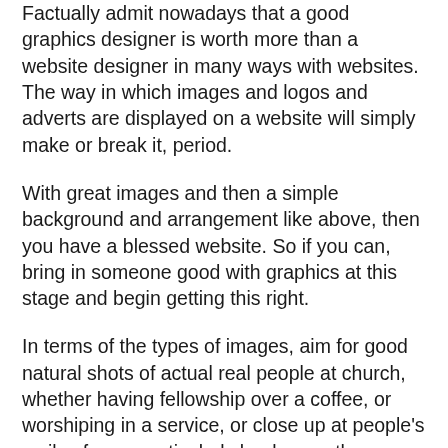Factually admit nowadays that a good graphics designer is worth more than a website designer in many ways with websites. The way in which images and logos and adverts are displayed on a website will simply make or break it, period.
With great images and then a simple background and arrangement like above, then you have a blessed website. So if you can, bring in someone good with graphics at this stage and begin getting this right.
In terms of the types of images, aim for good natural shots of actual real people at church, whether having fellowship over a coffee, or worshiping in a service, or close up at people's smiley faces, particularly leaders as these pages are surprisingly very popular for people to look at.
With today's technology these can actually be done by your own smart phone of digital camera, and with some online editing tools you can crop them, shape them up into, say